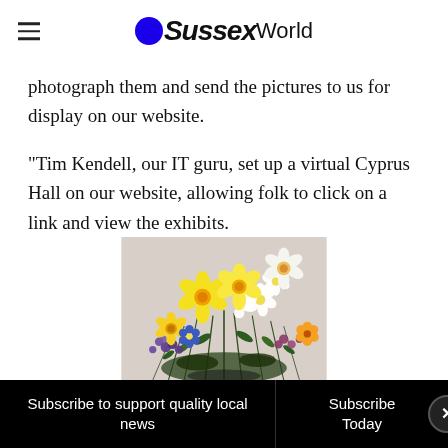OSussex World
photograph them and send the pictures to us for display on our website.
“Tim Kendell, our IT guru, set up a virtual Cyprus Hall on our website, allowing folk to click on a link and view the exhibits.
[Figure (photo): A colourful bouquet of flowers including daffodils, purple and white blooms against a light grey background.]
Subscribe to support quality local news | Subscribe Today